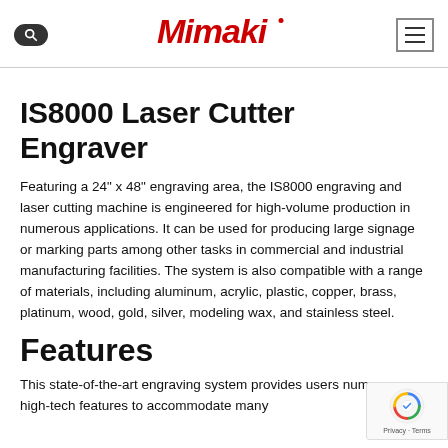Mimaki
IS8000 Laser Cutter Engraver
Featuring a 24" x 48" engraving area, the IS8000 engraving and laser cutting machine is engineered for high-volume production in numerous applications. It can be used for producing large signage or marking parts among other tasks in commercial and industrial manufacturing facilities. The system is also compatible with a range of materials, including aluminum, acrylic, plastic, copper, brass, platinum, wood, gold, silver, modeling wax, and stainless steel.
Features
This state-of-the-art engraving system provides users numerous high-tech features to accommodate many